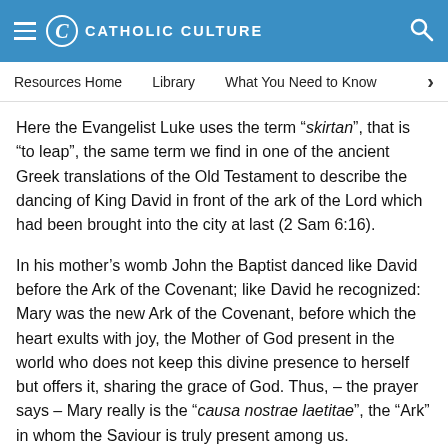CATHOLIC CULTURE
Resources Home   Library   What You Need to Know
Here the Evangelist Luke uses the term “skirtan”, that is “to leap”, the same term we find in one of the ancient Greek translations of the Old Testament to describe the dancing of King David in front of the ark of the Lord which had been brought into the city at last (2 Sam 6:16).
In his mother’s womb John the Baptist danced like David before the Ark of the Covenant; like David he recognized: Mary was the new Ark of the Covenant, before which the heart exults with joy, the Mother of God present in the world who does not keep this divine presence to herself but offers it, sharing the grace of God. Thus, – the prayer says – Mary really is the “causa nostrae laetitae”, the “Ark” in whom the Saviour is truly present among us.